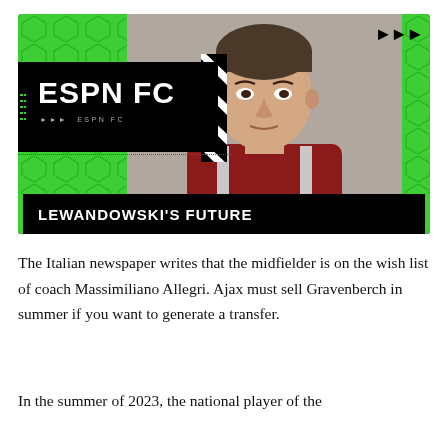[Figure (screenshot): ESPN FC video thumbnail showing Robert Lewandowski with the headline 'LEWANDOWSKI'S FUTURE'. The thumbnail has a green hexagon-patterned background on the left and right edges, an ESPN FC logo in a black band on the upper-left, and a forward-skip icon on the upper-right. A dotted horizontal line runs below the ESPN FC logo. The title bar at the bottom reads 'LEWANDOWSKI'S FUTURE' in bold white text on black.]
The Italian newspaper writes that the midfielder is on the wish list of coach Massimiliano Allegri. Ajax must sell Gravenberch in summer if you want to generate a transfer.
In the summer of 2023, the national player of the